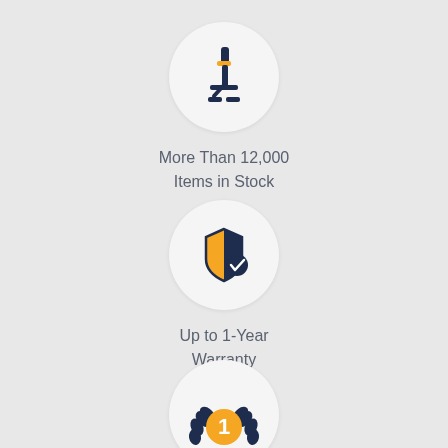[Figure (illustration): Circular white icon with a dark navy microscope and an orange highlight on the eyepiece]
More Than 12,000 Items in Stock
[Figure (illustration): Circular white icon with a shield half navy half orange with a navy check badge overlay]
Up to 1-Year Warranty
[Figure (illustration): Circular white icon with an orange medal number 1 badge and dark navy laurel wreath]